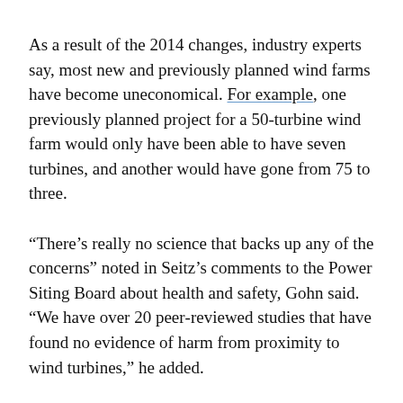As a result of the 2014 changes, industry experts say, most new and previously planned wind farms have become uneconomical. For example, one previously planned project for a 50-turbine wind farm would only have been able to have seven turbines, and another would have gone from 75 to three.
“There’s really no science that backs up any of the concerns” noted in Seitz’s comments to the Power Siting Board about health and safety, Gohn said. “We have over 20 peer-reviewed studies that have found no evidence of harm from proximity to wind turbines,” he added.